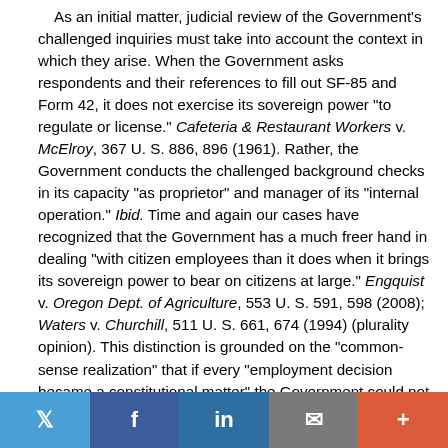As an initial matter, judicial review of the Government's challenged inquiries must take into account the context in which they arise. When the Government asks respondents and their references to fill out SF-85 and Form 42, it does not exercise its sovereign power "to regulate or license." Cafeteria & Restaurant Workers v. McElroy, 367 U. S. 886, 896 (1961). Rather, the Government conducts the challenged background checks in its capacity "as proprietor" and manager of its "internal operation." Ibid. Time and again our cases have recognized that the Government has a much freer hand in dealing "with citizen employees than it does when it brings its sovereign power to bear on citizens at large." Engquist v. Oregon Dept. of Agriculture, 553 U. S. 591, 598 (2008); Waters v. Churchill, 511 U. S. 661, 674 (1994) (plurality opinion). This distinction is grounded on the "common-sense realization" that if every "employment decision became a constitutional matter" the Government could not function
[Figure (other): Social sharing bar with Twitter, Facebook, LinkedIn, email, and plus buttons]